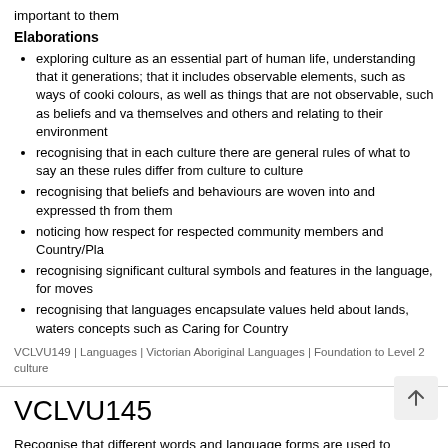important to them
Elaborations
exploring culture as an essential part of human life, understanding that it generations; that it includes observable elements, such as ways of cooking colours, as well as things that are not observable, such as beliefs and va themselves and others and relating to their environment
recognising that in each culture there are general rules of what to say and these rules differ from culture to culture
recognising that beliefs and behaviours are woven into and expressed th from them
noticing how respect for respected community members and Country/Pla
recognising significant cultural symbols and features in the language, for moves
recognising that languages encapsulate values held about lands, waters concepts such as Caring for Country
VCLVU149 | Languages | Victorian Aboriginal Languages | Foundation to Level 2 culture
VCLVU145
Recognise that different words and language forms are used to address and relationship and context
Elaborations